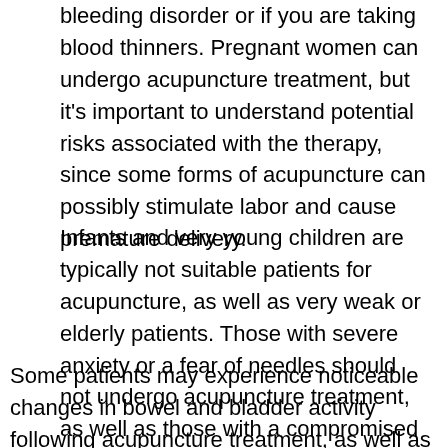bleeding disorder or if you are taking blood thinners. Pregnant women can undergo acupuncture treatment, but it's important to understand potential risks associated with the therapy, since some forms of acupuncture can possibly stimulate labor and cause premature delivery.
Infants and very young children are typically not suitable patients for acupuncture, as well as very weak or elderly patients. Those with severe anxiety or a fear of needles should not undergo acupuncture treatment, as well as those with a compromised immune system.
Some patients may experience noticeable changes in bowel and bladder activity following acupuncture treatment, as well as changes in sleep